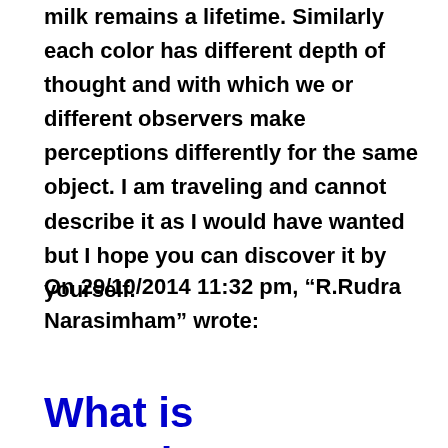milk remains a lifetime. Similarly each color has different depth of thought and with which we or different observers make perceptions differently for the same object. I am traveling and cannot describe it as I would have wanted but I hope you can discover it by yourself.
On 29/10/2014 11:32 pm, “R.Rudra Narasimham” wrote:
What is Experience?